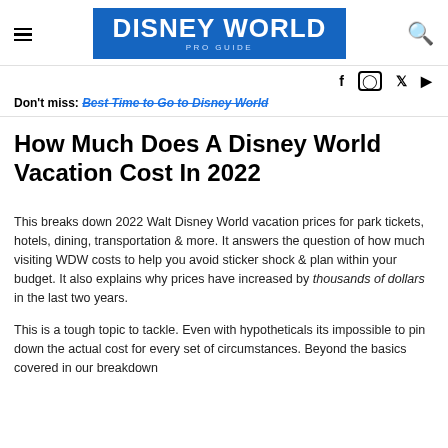DISNEY WORLD PRO GUIDE
Don't miss: Best Time to Go to Disney World
How Much Does A Disney World Vacation Cost In 2022
This breaks down 2022 Walt Disney World vacation prices for park tickets, hotels, dining, transportation & more. It answers the question of how much visiting WDW costs to help you avoid sticker shock & plan within your budget. It also explains why prices have increased by thousands of dollars in the last two years.
This is a tough topic to tackle. Even with hypotheticals its impossible to pin down the actual cost for every set of circumstances. Beyond the basics covered in our breakdown